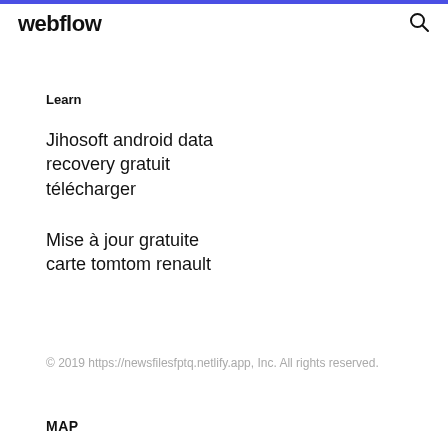webflow
Learn
Jihosoft android data recovery gratuit télécharger
Mise à jour gratuite carte tomtom renault
© 2019 https://newsfilesfptq.netlify.app, Inc. All rights reserved.
MAP